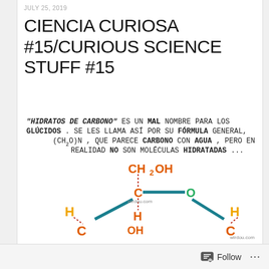JULY 25, 2019
CIENCIA CURIOSA #15/CURIOUS SCIENCE STUFF #15
[Figure (infographic): Infographic about carbohydrates (hidratos de carbono / glúcidos) with text in handwritten style and a colorful molecular diagram of a sugar ring structure (CH2OH group, C-O bond, H and C atoms in yellow, red, green with teal bonds). Text says: 'HIDRATOS DE CARBONO' es un MAL nombre para los GLÚCIDOS. Se les llama así por su FÓRMULA general, (CH2O)n, que parece CARBONO con AGUA, pero en realidad NO son moléculas HIDRATADAS... with wirdou.com watermark.]
Follow ...